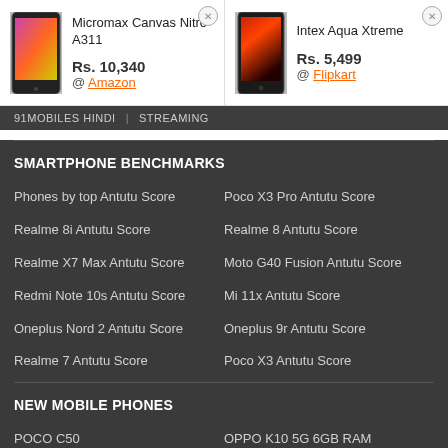[Figure (photo): Micromax Canvas Nitro A311 smartphone product image]
Micromax Canvas Nitro A311
Rs. 10,340
@ Amazon
[Figure (photo): Intex Aqua Xtreme smartphone product image]
Intex Aqua Xtreme
Rs. 5,499
@ Flipkart
91MOBILES HINDI | STREAMING
SMARTPHONE BENCHMARKS
Phones by top Antutu Score
Poco X3 Pro Antutu Score
Realme 8i Antutu Score
Realme 8 Antutu Score
Realme X7 Max Antutu Score
Moto G40 Fusion Antutu Score
Redmi Note 10s Antutu Score
Mi 11x Antutu Score
Oneplus Nord 2 Antutu Score
Oneplus 9r Antutu Score
Realme 7 Antutu Score
Poco X3 Antutu Score
NEW MOBILE PHONES
POCO C50
OPPO K10 5G 6GB RAM
OPPO A77s
Asus ROG Phone 6D
Moto G72 5G
Xiaomi Redmi Note 11 SE 5G
Moto G72
Itel Magic X